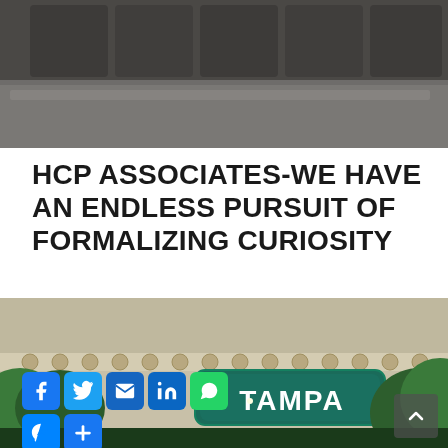[Figure (photo): Close-up photo of a sofa or bench with dark cushions and grey/brown upholstery, cropped view showing seat and back]
HCP ASSOCIATES-WE HAVE AN ENDLESS PURSUIT OF FORMALIZING CURIOSITY
[Figure (photo): Photo of the Tampa Theatre building facade with ornate decorative architecture, TAMPA marquee sign in teal/green with bulb letters, green foliage in foreground; social media sharing icons overlay (Facebook, Twitter, Email, LinkedIn, WhatsApp, Messenger, More)]